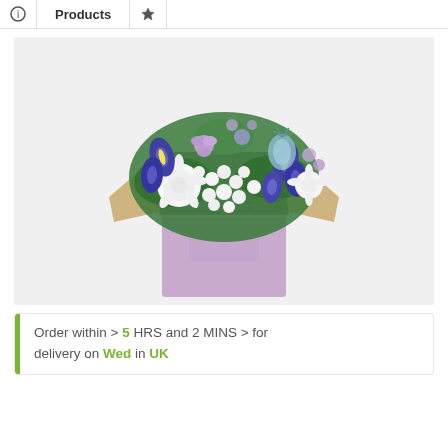Products
[Figure (photo): A flower bouquet with purple irises, white chrysanthemums, white spray roses, purple lisianthus, and thistle, wrapped in kraft and grey paper, placed in a lavender gift bag with rope handles, on a white background.]
Order within > 5 HRS and 2 MINS > for delivery on Wed in UK